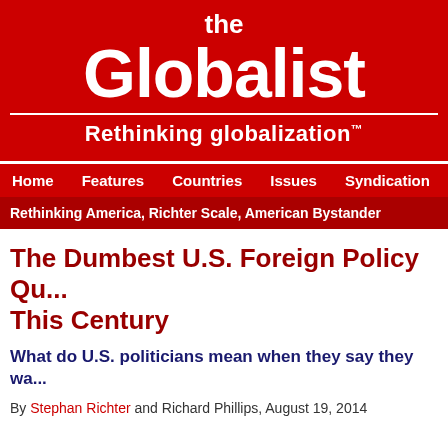[Figure (logo): The Globalist website header logo with red background, white text reading 'the Globalist' and tagline 'Rethinking globalization™']
Home   Features   Countries   Issues   Syndication   In the
Rethinking America, Richter Scale, American Bystander
The Dumbest U.S. Foreign Policy Qu... This Century
What do U.S. politicians mean when they say they wa...
By Stephan Richter and Richard Phillips, August 19, 2014